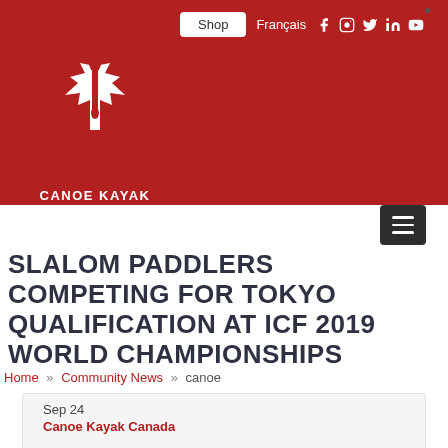[Figure (logo): Canoe Kayak Canada logo — white maple leaf with paddle on red background, with text CANOE KAYAK CANADA below]
Shop  Français
SLALOM PADDLERS COMPETING FOR TOKYO QUALIFICATION AT ICF 2019 WORLD CHAMPIONSHIPS
Home » Community News » canoe
Sep 24
Canoe Kayak Canada